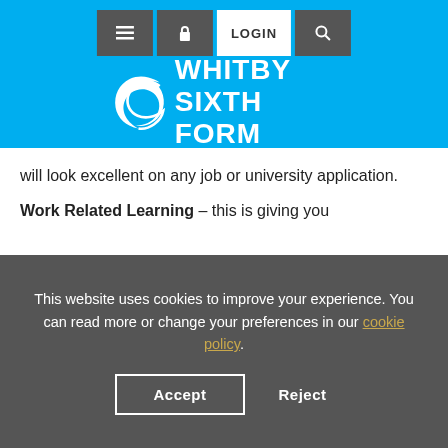[Figure (logo): Whitby Sixth Form logo with white wave/swirl icon and text WHITBY SIXTH FORM on blue background with navigation icons (menu, lock/login, search)]
will look excellent on any job or university application.
Work Related Learning – this is giving you
This website uses cookies to improve your experience. You can read more or change your preferences in our cookie policy.
Accept   Reject